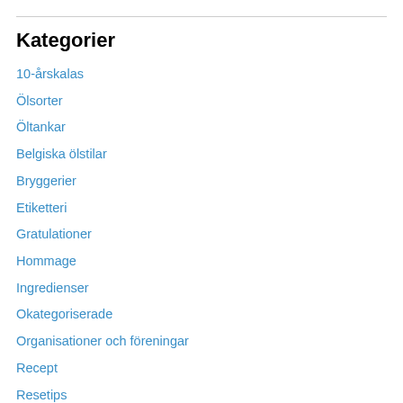Kategorier
10-årskalas
Ölsorter
Öltankar
Belgiska ölstilar
Bryggerier
Etiketteri
Gratulationer
Hommage
Ingredienser
Okategoriserade
Organisationer och föreningar
Recept
Resetips
skrönor
Skrubbe svarar
Systemsläpp a la Belgien
Tävling